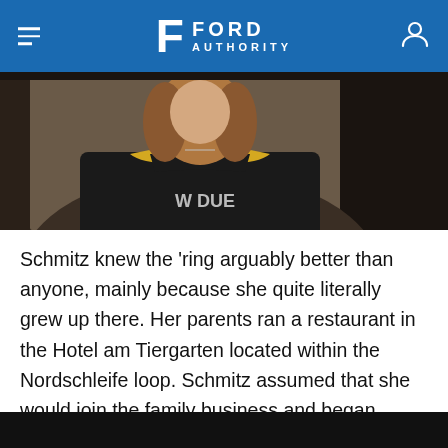Ford Authority
[Figure (photo): Person in dark shirt with yellow accents sitting in a vehicle, cropped to show upper body]
Schmitz knew the 'ring arguably better than anyone, mainly because she quite literally grew up there. Her parents ran a restaurant in the Hotel am Tiergarten located within the Nordschleife loop. Schmitz assumed that she would join the family business and began training as a hotelier and sommelier, but all it took was one lap around a track to realize her real calling.
[Figure (photo): Dark/black bottom strip, partial view of next image]